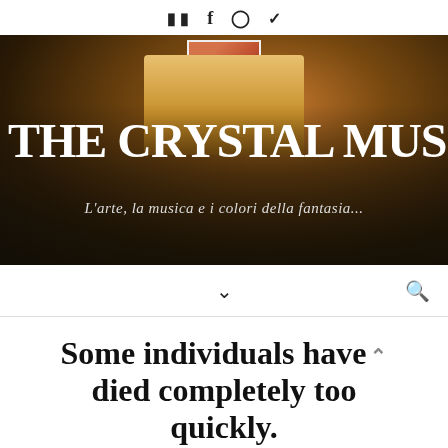Social icons: Facebook, f, Instagram, Twitter
[Figure (photo): Concert venue banner image showing audience and stage with large text 'THE CRYSTAL MUSIC' and italic subtitle 'L'arte, la musica e i colori della fantasia...']
THE CRYSTAL MUSIC
L'arte, la musica e i colori della fantasia...
Navigation bar with chevron down icon and search icon
Some individuals have died completely too quickly.